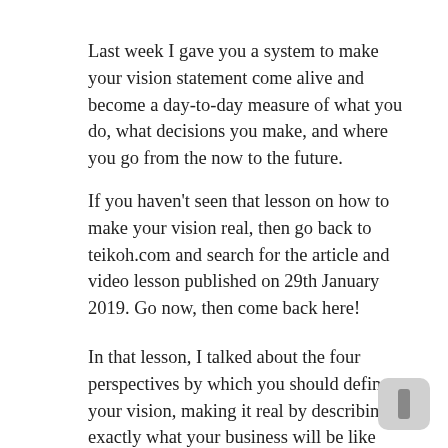Last week I gave you a system to make your vision statement come alive and become a day-to-day measure of what you do, what decisions you make, and where you go from the now to the future.
If you haven't seen that lesson on how to make your vision real, then go back to teikoh.com and search for the article and video lesson published on 29th January 2019. Go now, then come back here!
In that lesson, I talked about the four perspectives by which you should define your vision, making it real by describing exactly what your business will be like from these four perspectives, and therefore using them as measures on achieving your vision as well as guides on your day to day